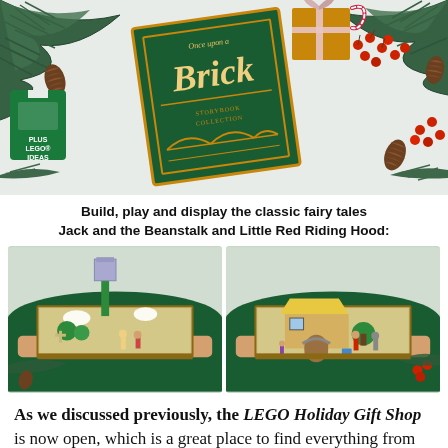[Figure (photo): LEGO 'Once Upon a Brick' set displayed as a book-shaped box with holiday decorations including pine branches, pine cones, red berries, and a wrapped gift. A green LEGO IDEAS tag is visible to the left of the book.]
Build, play and display the classic fairy tales Jack and the Beanstalk and Little Red Riding Hood:
[Figure (photo): Two side-by-side photos showing a person in a green sweater holding open the LEGO Once Upon a Brick book set. Left photo shows the Jack and the Beanstalk scene with a beanstalk tower build. Right photo shows the Little Red Riding Hood scene with a cottage and characters.]
As we discussed previously, the LEGO Holiday Gift Shop is now open, which is a great place to find everything from small stocking stuffers and